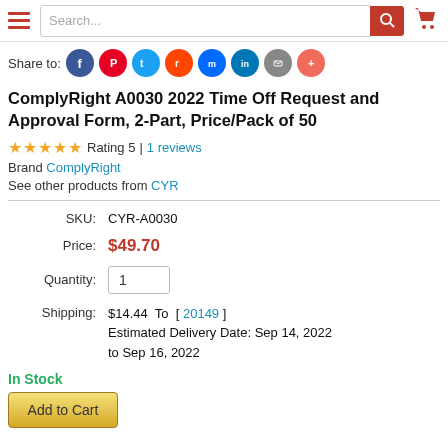Search...
Share to:
ComplyRight A0030 2022 Time Off Request and Approval Form, 2-Part, Price/Pack of 50
Rating 5 | 1 reviews
Brand ComplyRight
See other products from CYR
| Label | Value |
| --- | --- |
| SKU: | CYR-A0030 |
| Price: | $49.70 |
| Quantity: | 1 |
| Shipping: | $14.44  To  [ 20149 ]
Estimated Delivery Date: Sep 14, 2022 to Sep 16, 2022 |
In Stock
Add to Cart